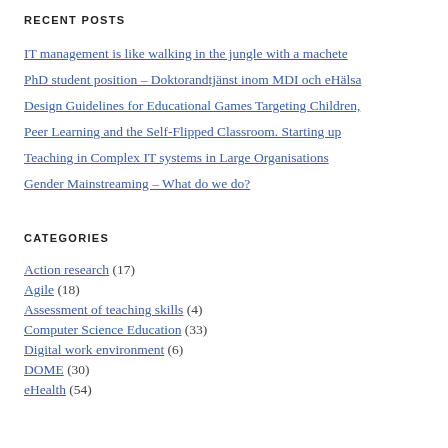RECENT POSTS
IT management is like walking in the jungle with a machete
PhD student position – Doktorandtjänst inom MDI och eHälsa
Design Guidelines for Educational Games Targeting Children,
Peer Learning and the Self-Flipped Classroom. Starting up
Teaching in Complex IT systems in Large Organisations
Gender Mainstreaming – What do we do?
CATEGORIES
Action research (17)
Agile (18)
Assessment of teaching skills (4)
Computer Science Education (33)
Digital work environment (6)
DOME (30)
eHealth (54)